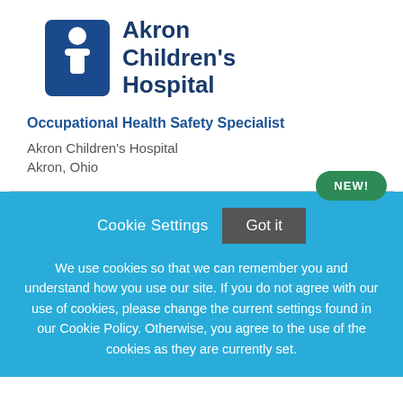[Figure (logo): Akron Children's Hospital logo with blue icon of child figure and blue text reading 'Akron Children's Hospital']
Occupational Health Safety Specialist
Akron Children's Hospital
Akron, Ohio
NEW!
Cookie Settings  Got it
We use cookies so that we can remember you and understand how you use our site. If you do not agree with our use of cookies, please change the current settings found in our Cookie Policy. Otherwise, you agree to the use of the cookies as they are currently set.